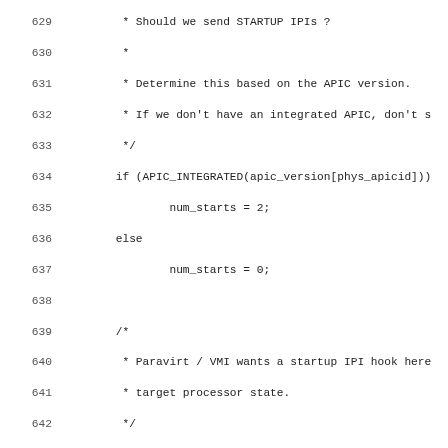Source code listing, lines 629-660, C kernel code for APIC startup IPI handling